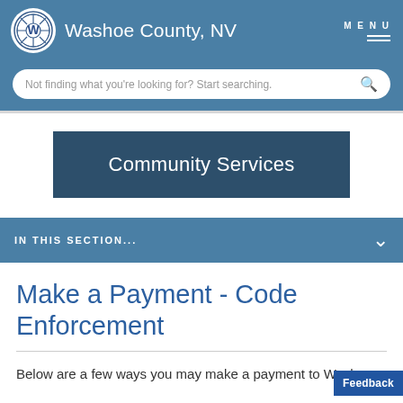Washoe County, NV
Not finding what you're looking for? Start searching.
Community Services
IN THIS SECTION...
Make a Payment - Code Enforcement
Below are a few ways you may make a payment to Washoe